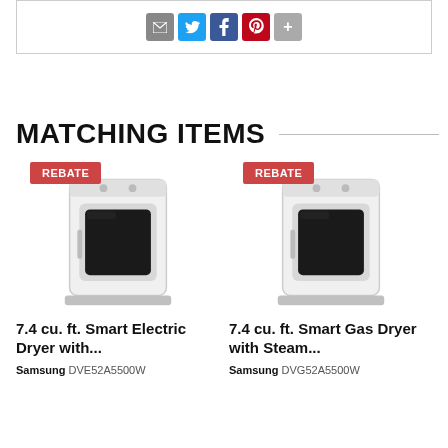[Figure (screenshot): Social sharing buttons: email, Twitter, Facebook, Pinterest, More — displayed inside a bordered box]
MATCHING ITEMS
[Figure (photo): Samsung white top-load electric dryer with REBATE badge overlay]
7.4 cu. ft. Smart Electric Dryer with...
Samsung DVE52A5500W
[Figure (photo): Samsung white top-load gas dryer with REBATE badge overlay]
7.4 cu. ft. Smart Gas Dryer with Steam...
Samsung DVG52A5500W